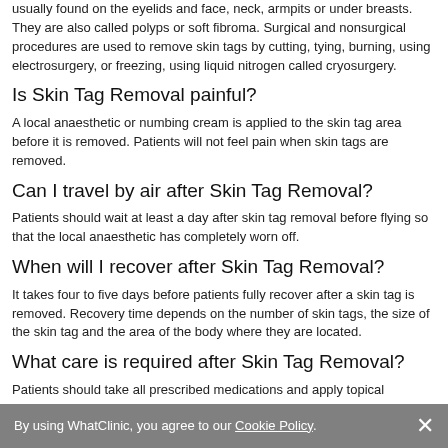usually found on the eyelids and face, neck, armpits or under breasts. They are also called polyps or soft fibroma. Surgical and nonsurgical procedures are used to remove skin tags by cutting, tying, burning, using electrosurgery, or freezing, using liquid nitrogen called cryosurgery.
Is Skin Tag Removal painful?
A local anaesthetic or numbing cream is applied to the skin tag area before it is removed. Patients will not feel pain when skin tags are removed.
Can I travel by air after Skin Tag Removal?
Patients should wait at least a day after skin tag removal before flying so that the local anaesthetic has completely worn off.
When will I recover after Skin Tag Removal?
It takes four to five days before patients fully recover after a skin tag is removed. Recovery time depends on the number of skin tags, the size of the skin tag and the area of the body where they are located.
What care is required after Skin Tag Removal?
Patients should take all prescribed medications and apply topical medications correctly. They should sleep with their head elevated for two days. They should avoid strenuous exercise and lifting heavy objects for at least a week. They should avoid exposing the treated area to direct sunlight for at least nine months. They should avoid touching or scratching the treated area to ensure
By using WhatClinic, you agree to our Cookie Policy. ×